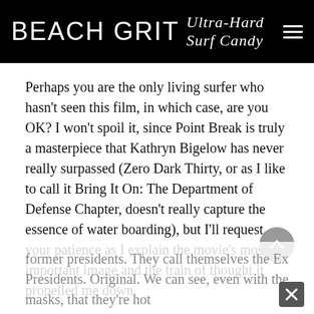BEACH GRIT Ultra-Hard Surf Candy
Perhaps you are the only living surfer who hasn't seen this film, in which case, are you OK? I won't spoil it, since Point Break is truly a masterpiece that Kathryn Bigelow has never really surpassed (Zero Dark Thirty, or as I like to call it Bring It On: The Department of Defense Chapter, doesn't really capture the essence of water boarding), but I'll request your patience as I explain the movie's most important image and the train of thought it propelled me down.
In the first scene we're introduced to a ragtag gang of hooligans who rob a bank wearing the masked visages of former presidents. They call themselves the Ex Presidents. Original. We can see, even with the masks, that they're hot